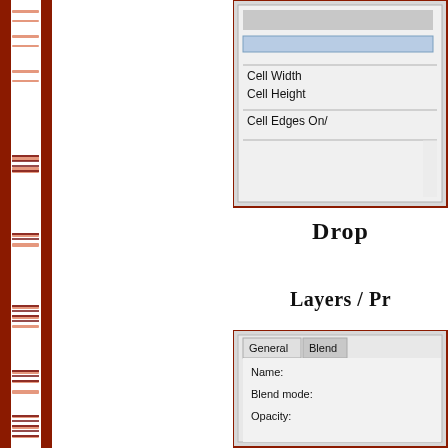[Figure (screenshot): UI panel showing Cell Width, Cell Height, Cell Edges On/Off controls with input boxes]
Drop
Layers / Pr
[Figure (screenshot): Layers/Properties panel with General and Blend tabs, showing Name, Blend mode, Opacity fields]